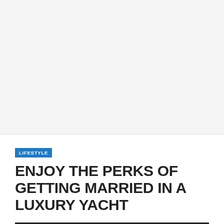[Figure (photo): Large image area (appears blank/white in this crop) occupying the top portion of the page]
LIFESTYLE
ENJOY THE PERKS OF GETTING MARRIED IN A LUXURY YACHT